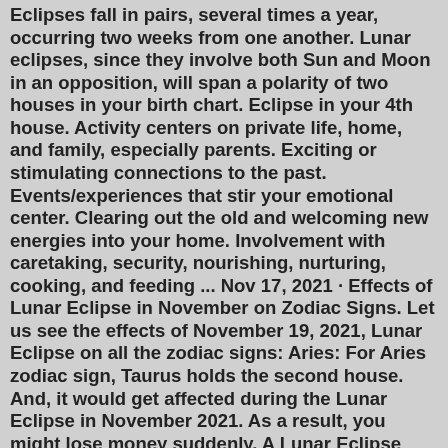Eclipses fall in pairs, several times a year, occurring two weeks from one another. Lunar eclipses, since they involve both Sun and Moon in an opposition, will span a polarity of two houses in your birth chart. Eclipse in your 4th house. Activity centers on private life, home, and family, especially parents. Exciting or stimulating connections to the past. Events/experiences that stir your emotional center. Clearing out the old and welcoming new energies into your home. Involvement with caretaking, security, nourishing, nurturing, cooking, and feeding ... Nov 17, 2021 · Effects of Lunar Eclipse in November on Zodiac Signs. Let us see the effects of November 19, 2021, Lunar Eclipse on all the zodiac signs: Aries: For Aries zodiac sign, Taurus holds the second house. And, it would get affected during the Lunar Eclipse in November 2021. As a result, you might lose money suddenly. A Lunar Eclipse today is Super Flower Blood Moon - May 16th Eclipses are dynamic cosmic occurrences that activate the lunar nodes. ... The Lunar Eclipse on May 16th activates your financial